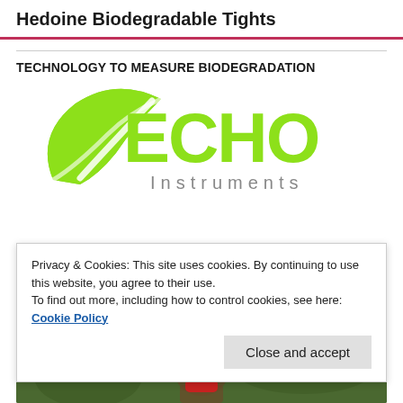Hedoine Biodegradable Tights
TECHNOLOGY TO MEASURE BIODEGRADATION
[Figure (logo): ECHO Instruments logo — large green leaf with white swoosh forming the 'E' of ECHO, with 'ECHO' in bold bright green capitals and 'Instruments' in grey spaced letters below]
Privacy & Cookies: This site uses cookies. By continuing to use this website, you agree to their use.
To find out more, including how to control cookies, see here: Cookie Policy
Close and accept
[Figure (screenshot): Video thumbnail showing a person with a red mask in an outdoor green setting, with an overlay bar showing a purple 'A' avatar circle and the text 'Circular Packaging' with a three-dot menu icon]